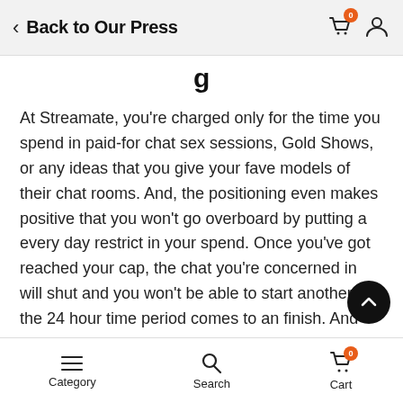Back to Our Press
At Streamate, you're charged only for the time you spend in paid-for chat sex sessions, Gold Shows, or any ideas that you give your fave models of their chat rooms. And, the positioning even makes positive that you won't go overboard by putting a every day restrict in your spend. Once you've got reached your cap, the chat you're concerned in will shut and you won't be able to start another till the 24 hour time period comes to an finish. And yes, you can enhance your every day cap by contacting the location and requesting a brand new restrict.
Site instead of all of the white labels merely repackaging streamates provides. So let me share my own experience
Category   Search   Cart